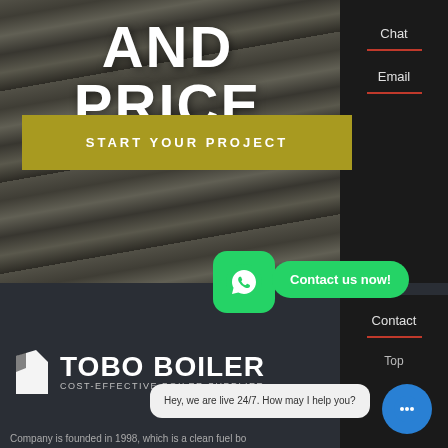AND PRICE
[Figure (other): Olive/yellow CTA button with text START YOUR PROJECT]
[Figure (screenshot): Dark sidebar with Chat, Email, Contact, Top navigation items separated by red dividers]
[Figure (logo): Tobo Boiler logo with icon and text COST-EFFECTIVE BOILER SUPPLIER]
[Figure (other): Green WhatsApp bubble icon with phone handset]
Contact us now!
Hey, we are live 24/7. How may I help you?
Company is founded in 1998, which is a clean fuel bo